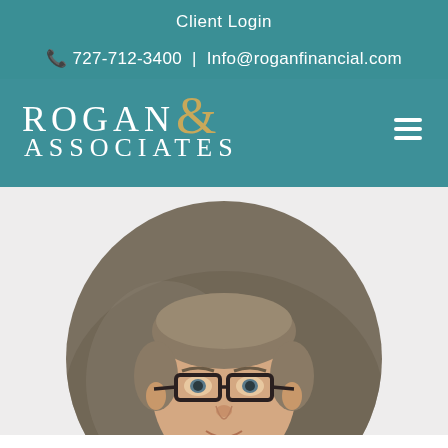Client Login
727-712-3400 | Info@roganfinancial.com
[Figure (logo): Rogan & Associates logo with teal background and gold ampersand]
[Figure (photo): Circular headshot photo of a middle-aged man with short gray-brown hair wearing dark-rimmed glasses, against a blurred background]